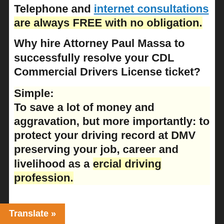Telephone and internet consultations are always FREE with no obligation.
Why hire Attorney Paul Massa to successfully resolve your CDL Commercial Drivers License ticket?
Simple: To save a lot of money and aggravation, but more importantly: to protect your driving record at DMV preserving your job, career and livelihood as a commercial driving profession.